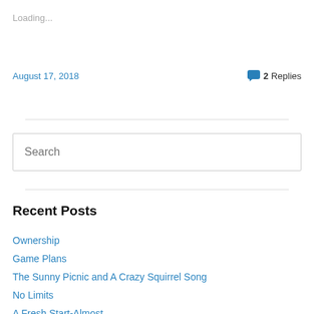Loading...
August 17, 2018
2 Replies
Search
Recent Posts
Ownership
Game Plans
The Sunny Picnic and A Crazy Squirrel Song
No Limits
A Fresh Start-Almost